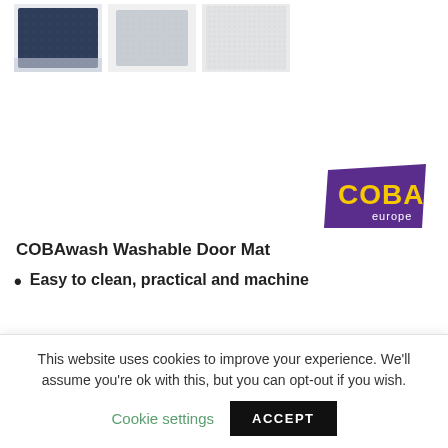[Figure (photo): Three thumbnail images of door mats: dark navy blue mat, light grey mat, and white/off-white textured mat]
[Figure (logo): COBA europe logo — purple parallelogram background with yellow COBA text and white 'europe' text]
COBAwash Washable Door Mat
Easy to clean, practical and machine
This website uses cookies to improve your experience. We'll assume you're ok with this, but you can opt-out if you wish.
Cookie settings
ACCEPT